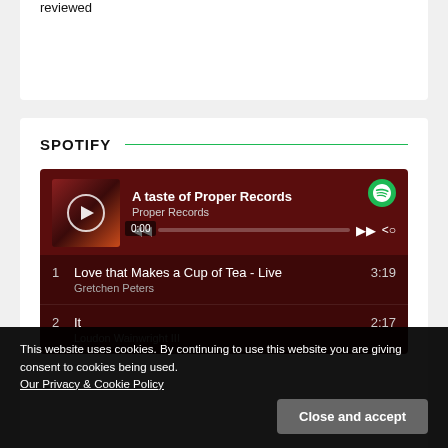reviewed
SPOTIFY
[Figure (screenshot): Spotify embedded player showing playlist 'A taste of Proper Records' by Proper Records. Track listing includes: 1. Love that Makes a Cup of Tea - Live by Gretchen Peters (3:19), 2. It by Loudon Wainwright III (2:17). Player shows playback at 0:00 with progress bar and controls.]
This website uses cookies. By continuing to use this website you are giving consent to cookies being used.
Our Privacy & Cookie Policy
Close and accept